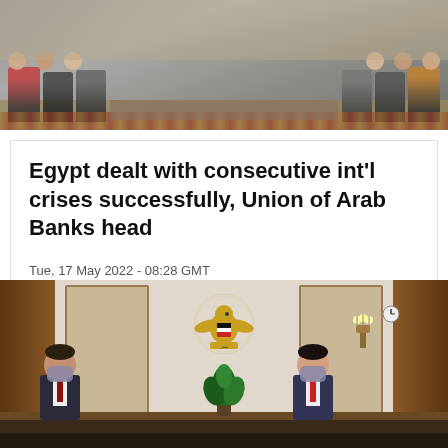[Figure (photo): Photo of a formal diplomatic meeting with people seated in chairs facing each other in a room with patterned carpet]
Egypt dealt with consecutive int'l crises successfully, Union of Arab Banks head
Tue, 17 May 2022 - 08:28 GMT
Egypt's Prime minster Mostafa Madbouly said, Tuesday that the Russian-Ukrainian crisis imposed great challenges over several countries all over the world.
[Figure (photo): Photo of Egyptian Prime Minister Mostafa Madbouly and another official seated at a formal meeting table in front of the Egyptian state emblem on a decorative wall with wood paneling]